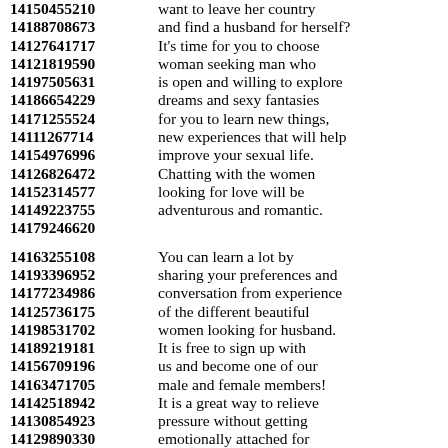14150455210 want to leave her country
14188708673 and find a husband for herself?
14127641717 It's time for you to choose
14121819590 woman seeking man who
14197505631 is open and willing to explore
14186654229 dreams and sexy fantasies
14171255524 for you to learn new things,
14111267714 new experiences that will help
14154976996 improve your sexual life.
14126826472 Chatting with the women
14152314577 looking for love will be
14149223755 adventurous and romantic.
14179246620
14163255108 You can learn a lot by
14193396952 sharing your preferences and
14177234986 conversation from experience
14125736175 of the different beautiful
14198531702 women looking for husband.
14189219181 It is free to sign up with
14156709196 us and become one of our
14163471705 male and female members!
14142518942 It is a great way to relieve
14130854923 pressure without getting
14129890330 emotionally attached for
14195390886 those who have a busy schedule
14158883454 and are not willing to